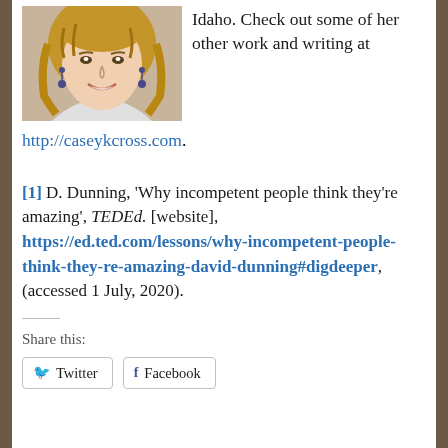[Figure (photo): Smiling woman with wavy blonde hair and dangling earrings, author photo]
Idaho. Check out some of her other work and writing at http://caseykcross.com.
[1] D. Dunning, 'Why incompetent people think they're amazing', TEDEd. [website], https://ed.ted.com/lessons/why-incompetent-people-think-they-re-amazing-david-dunning#digdeeper, (accessed 1 July, 2020).
Share this:
Twitter   Facebook